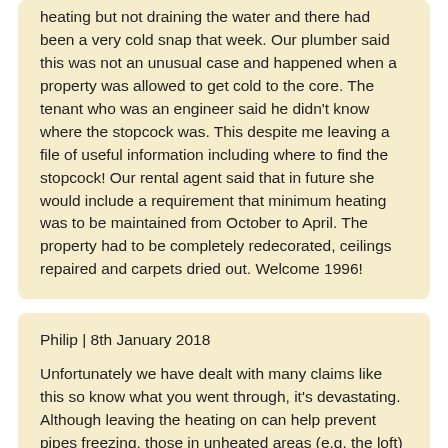heating but not draining the water and there had been a very cold snap that week. Our plumber said this was not an unusual case and happened when a property was allowed to get cold to the core. The tenant who was an engineer said he didn't know where the stopcock was. This despite me leaving a file of useful information including where to find the stopcock! Our rental agent said that in future she would include a requirement that minimum heating was to be maintained from October to April. The property had to be completely redecorated, ceilings repaired and carpets dried out. Welcome 1996!
Philip | 8th January 2018
Unfortunately we have dealt with many claims like this so know what you went through, it's devastating. Although leaving the heating on can help prevent pipes freezing, those in unheated areas (e.g. the loft) can still freeze and